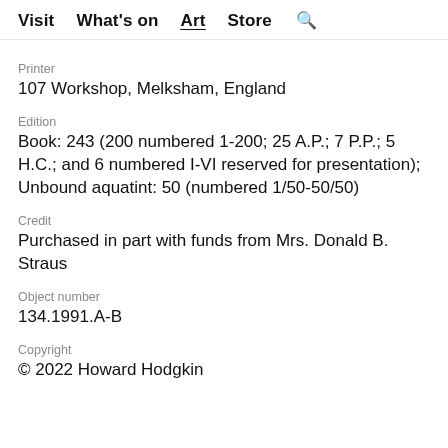Visit  What's on  Art  Store  🔍
Printer
107 Workshop, Melksham, England
Edition
Book: 243 (200 numbered 1-200; 25 A.P.; 7 P.P.; 5 H.C.; and 6 numbered I-VI reserved for presentation); Unbound aquatint: 50 (numbered 1/50-50/50)
Credit
Purchased in part with funds from Mrs. Donald B. Straus
Object number
134.1991.A-B
Copyright
© 2022 Howard Hodgkin